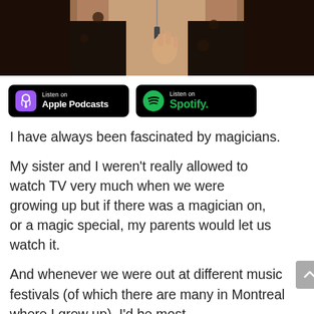[Figure (photo): A person wearing a dark floral top with a pendant necklace, making a hand gesture against a neutral background. Only the lower face, neck, and hand are visible.]
[Figure (logo): Listen on Apple Podcasts badge — black rounded rectangle with purple podcast icon and white text]
[Figure (logo): Listen on Spotify badge — black rounded rectangle with green Spotify logo and green text]
I have always been fascinated by magicians.
My sister and I weren't really allowed to watch TV very much when we were growing up but if there was a magician on, or a magic special, my parents would let us watch it.
And whenever we were out at different music festivals (of which there are many in Montreal where I grew up), I'd be most